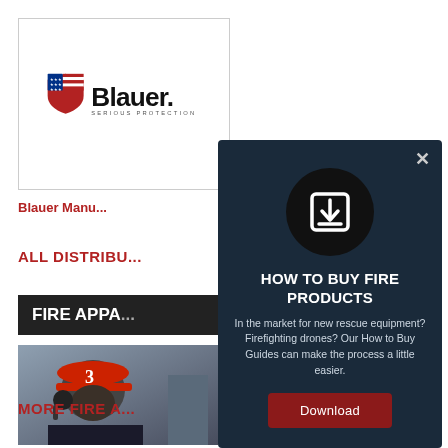[Figure (logo): Blauer Serious Protection logo with US flag shield and bold 'Blauer.' wordmark]
Blauer Manu...
ALL DISTRIBU...
FIRE APPA...
[Figure (photo): Firefighter wearing red helmet with number 3 and radio headset]
MORE FIRE A...
[Figure (infographic): Modal dialog with dark navy background titled 'HOW TO BUY FIRE PRODUCTS' with download icon, descriptive text, and Download button]
HOW TO BUY FIRE PRODUCTS
In the market for new rescue equipment? Firefighting drones? Our How to Buy Guides can make the process a little easier.
Download